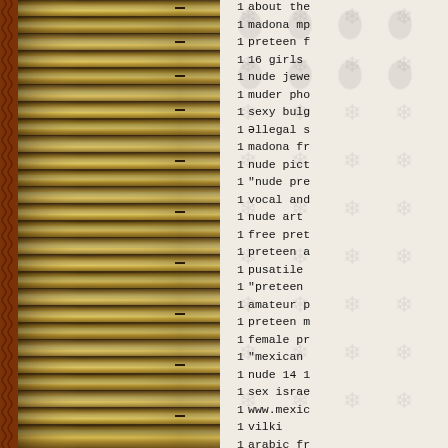[Figure (photo): Left panel showing stacked wooden logs (log cabin style) with decorative woven border on far left edge, and faint snowflake/floral watermark pattern on light background on right side]
| count | query |
| --- | --- |
| 1 | about the |
| 1 | madona mp |
| 1 | preteen f |
| 1 | 16 girls |
| 1 | nude jewe |
| 1 | muder pho |
| 1 | sexy bulg |
| 1 | əllegal s |
| 1 | madona fr |
| 1 | nude pict |
| 1 | "nude pre |
| 1 | vocal and |
| 1 | nude art |
| 1 | free pret |
| 1 | preteen a |
| 1 | pusatile |
| 1 | "preteen |
| 1 | amateur p |
| 1 | preteen m |
| 1 | female pr |
| 1 | "mexican |
| 1 | nude 14 1 |
| 1 | sex israe |
| 1 | www.mexic |
| 1 | vilki |
| 1 | arabic fr |